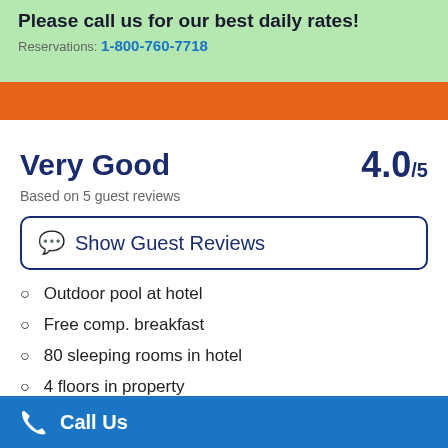Please call us for our best daily rates!
Reservations: 1-800-760-7718
Very Good
4.0 /5
Based on 5 guest reviews
Show Guest Reviews
Outdoor pool at hotel
Free comp. breakfast
80 sleeping rooms in hotel
4 floors in property
14 suites in property
Call Us